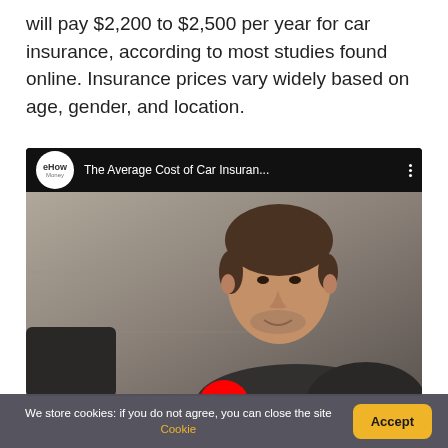will pay $2,200 to $2,500 per year for car insurance, according to most studies found online. Insurance prices vary widely based on age, gender, and location.
[Figure (screenshot): Embedded YouTube video thumbnail showing a man in a dark jacket seated at a desk, with eHow Money channel logo and title 'The Average Cost of Car Insuran...' in the top bar, and a partially visible red YouTube play button at the bottom.]
We store cookies: if you do not agree, you can close the site Cookie